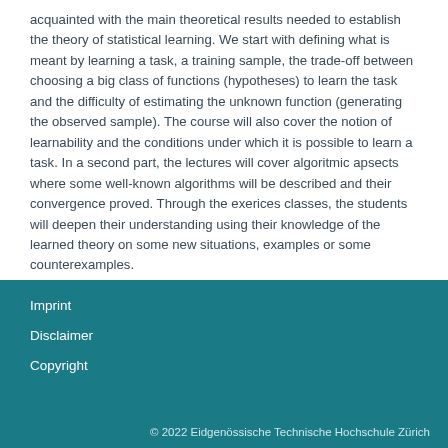acquainted with the main theoretical results needed to establish the theory of statistical learning. We start with defining what is meant by learning a task, a training sample, the trade-off between choosing a big class of functions (hypotheses) to learn the task and the difficulty of estimating the unknown function (generating the observed sample). The course will also cover the notion of learnability and the conditions under which it is possible to learn a task. In a second part, the lectures will cover algoritmic apsects where some well-known algorithms will be described and their convergence proved. Through the exerices classes, the students will deepen their understanding using their knowledge of the learned theory on some new situations, examples or some counterexamples.
Imprint
Disclaimer
Copyright
© 2022 Eidgenössische Technische Hochschule Zürich